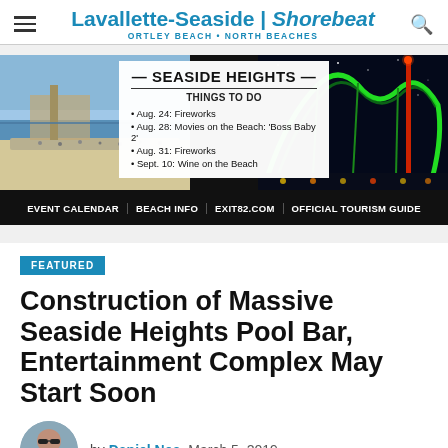Lavallette-Seaside | Shorebeat — ORTLEY BEACH • NORTH BEACHES
[Figure (infographic): Ad banner for Seaside Heights tourism showing beach aerial photo on left, roller coaster at night on right, and a center overlay listing: SEASIDE HEIGHTS THINGS TO DO — Aug. 24: Fireworks, Aug. 28: Movies on the Beach: 'Boss Baby 2', Aug. 31: Fireworks, Sept. 10: Wine on the Beach. Bottom bar: EVENT CALENDAR | BEACH INFO | EXIT82.COM | OFFICIAL TOURISM GUIDE]
FEATURED
Construction of Massive Seaside Heights Pool Bar, Entertainment Complex May Start Soon
by Daniel Nee  March 5, 2019